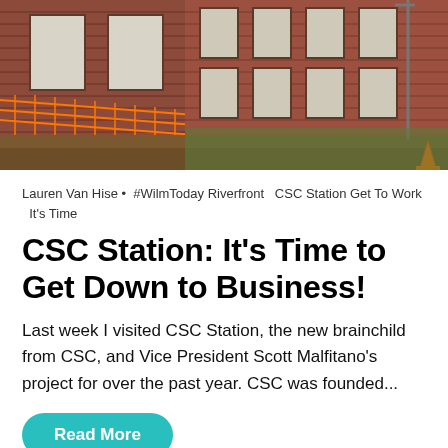[Figure (photo): Photograph of a red brick building exterior under construction, with orange safety fencing on the left, boarded-up windows, exposed dirt and construction materials on the ground, a blue sky visible in the upper right, and an orange traffic cone in the lower right.]
Lauren Van Hise • #WilmToday Riverfront CSC Station Get To Work It's Time
CSC Station: It's Time to Get Down to Business!
Last week I visited CSC Station, the new brainchild from CSC, and Vice President Scott Malfitano's project for over the past year. CSC was founded...
Read More